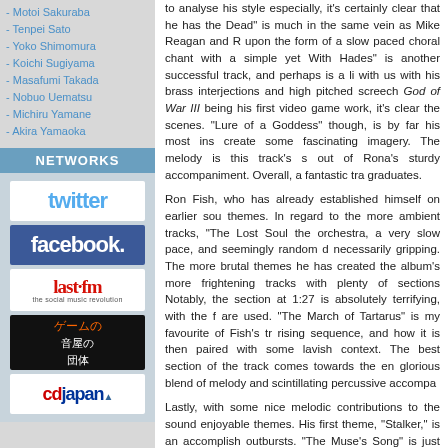- Motoi Sakuraba
- Tenpei Sato
- Yoko Shimomura
- Koichi Sugiyama
- Masafumi Takada
- Nobuo Uematsu
- Michiru Yamane
- Akira Yamaoka
NETWORKS
[Figure (logo): Twitter logo]
[Figure (logo): Facebook logo]
[Figure (logo): Last.fm - the social music revolution logo]
[Figure (logo): Game music Japan logo in Japanese]
[Figure (logo): CDJapan logo]
to analyse his style especially, it's certainly clear that he has the Dead" is much in the same vein as Mike Reagan and R upon the form of a slow paced choral chant with a simple yet With Hades" is another successful track, and perhaps is a li with us with his brass interjections and high pitched screech God of War III being his first video game work, it's clear the scenes. "Lure of a Goddess" though, is by far his most ins create some fascinating imagery. The melody is this track's s out of Rona's sturdy accompaniment. Overall, a fantastic tra graduates.
Ron Fish, who has already established himself on earlier sou themes. In regard to the more ambient tracks, "The Lost Soul the orchestra, a very slow pace, and seemingly random d necessarily gripping. The more brutal themes he has created the album's more frightening tracks with plenty of sections Notably, the section at 1:27 is absolutely terrifying, with the f are used. "The March of Tartarus" is my favourite of Fish's tr rising sequence, and how it is then paired with some lavish context. The best section of the track comes towards the en glorious blend of melody and scintillating percussive accompa
Lastly, with some nice melodic contributions to the sound enjoyable themes. His first theme, "Stalker," is an accomplish outbursts. "The Muse's Song" is just as enjoyable too, and i continuation of a rampant drum line. The 'cello melody (late bass development is very well executed. Another two of Vela and "Pandora's Song." "Brothers of Blood" is akin to Fish a upholds his own melodic prowess. While it features some fa Song," which is arguably the album's best track. The success of all instruments involved in the main melody. The melody be solo vocal line, whilst also creating a sumptuous harmony. Ou of Velasco's.
Summary
As expected, the God of War III Original Soundtrack is an o